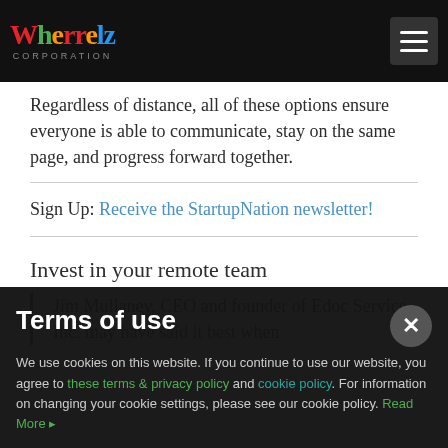Wherrelz Corporation — navigation header with menu button
Regardless of distance, all of these options ensure everyone is able to communicate, stay on the same page, and progress forward together.
Sign Up: Receive the StartupNation newsletter!
Invest in your remote team
Jim Mullaney, CEO and founder of Edoc Service, Inc. may have said it best when
Terms of use
We use cookies on this website. If you continue to use our website, you agree to these terms & privacy policy and cookie policy. For information on changing your cookie settings, please see our cookie policy. Read More ▸